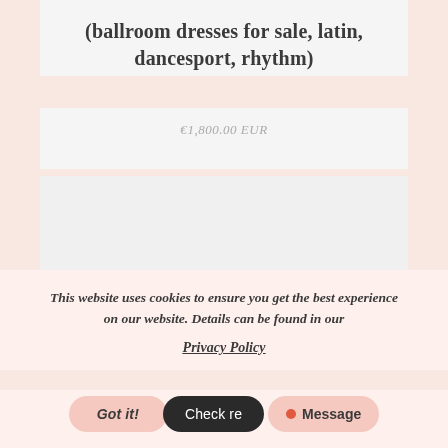(ballroom dresses for sale, latin, dancesport, rhythm)
€1,800.00 EUR
[Figure (other): Empty light gray image placeholder area]
This website uses cookies to ensure you get the best experience on our website. Details can be found in our Privacy Policy
Got it!   Check re   • Message